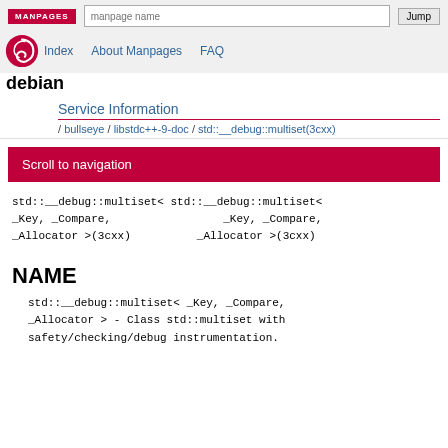MANPAGES | manpage name | Jump
Index   About Manpages   FAQ
debian
Service Information
/ bullseye / libstdc++-9-doc / std::__debug::multiset(3cxx)
Scroll to navigation
std::__debug::multiset< std::__debug::multiset<
_Key, _Compare,                    _Key, _Compare,
_Allocator >(3cxx)           _Allocator >(3cxx)
NAME
std::__debug::multiset< _Key, _Compare,
_Allocator > - Class std::multiset with
safety/checking/debug instrumentation.